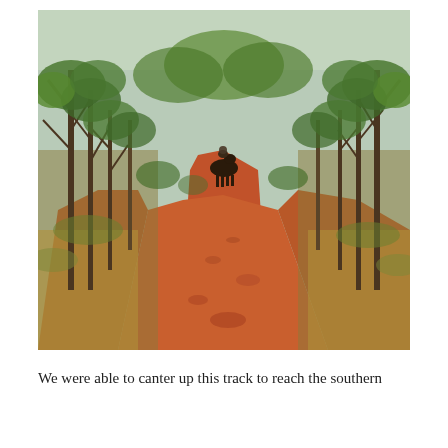[Figure (photo): A red dirt track winding through African bush with sparse trees and dry grass on either side. A horse and rider can be seen in the middle distance on the path, heading away from the camera.]
We were able to canter up this track to reach the southern